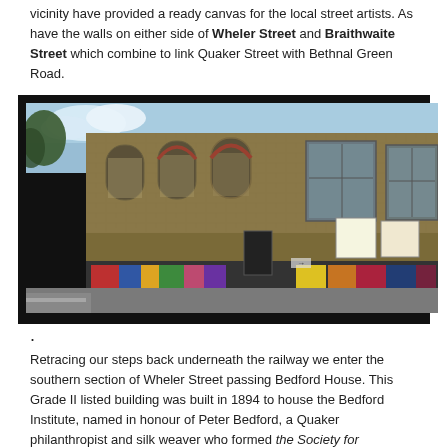vicinity have provided a ready canvas for the local street artists. As have the walls on either side of Wheler Street and Braithwaite Street which combine to link Quaker Street with Bethnal Green Road.
[Figure (photo): Photograph of a large Victorian brick industrial building (Bedford House) seen from street level. The building has arched windows on the upper floor and is covered with colourful graffiti and posters along the lower section. The street runs along the left side of the image.]
Retracing our steps back underneath the railway we enter the southern section of Wheler Street passing Bedford House. This Grade II listed building was built in 1894 to house the Bedford Institute, named in honour of Peter Bedford, a Quaker philanthropist and silk weaver who formed the Society for Lessening the Causes of Juvenile Delinquency. The institute moved out in 1947 and the